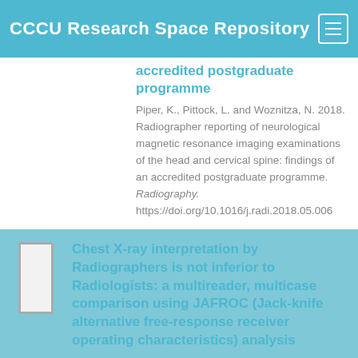CCCU Research Space Repository
accredited postgraduate programme
Piper, K., Pittock, L. and Woznitza, N. 2018. Radiographer reporting of neurological magnetic resonance imaging examinations of the head and cervical spine: findings of an accredited postgraduate programme. Radiography. https://doi.org/10.1016/j.radi.2018.05.006
Chest X-ray interpretation by Radiographers is not inferior to Radiologists: a multireader, multicase comparison using JAFROC (Jack-knife alternative free-response receiver operating characteristics) analysis